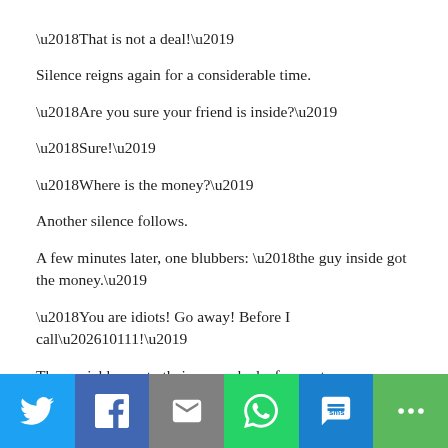‘That is not a deal!’
Silence reigns again for a considerable time.
‘Are you sure your friend is inside?’
‘Sure!’
‘Where is the money?’
Another silence follows.
A few minutes later, one blubbers: ‘the guy inside got the money.’
‘You are idiots! Go away! Before I call…10111!’
They quickly run to their car parked a few metres away.
The security guard sinks down onto his hard chair and
[Figure (infographic): Social share bar with six buttons: Twitter (blue), Facebook (dark blue), Email (grey), WhatsApp (green), SMS (blue), More (green). Each button has a white icon on a colored background.]